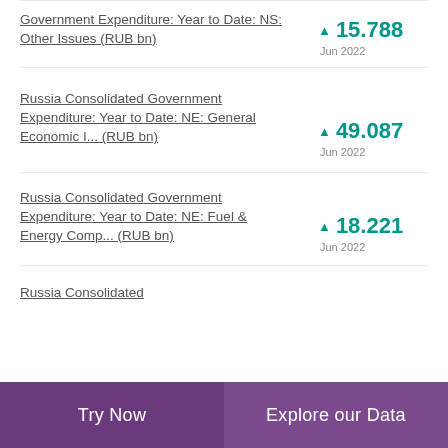Government Expenditure: Year to Date: NS: Other Issues (RUB bn) ▲ 15.788 Jun 2022
Russia Consolidated Government Expenditure: Year to Date: NE: General Economic I... (RUB bn) ▲ 49.087 Jun 2022
Russia Consolidated Government Expenditure: Year to Date: NE: Fuel & Energy Comp... (RUB bn) ▲ 18.221 Jun 2022
Russia Consolidated
Try Now | Explore our Data